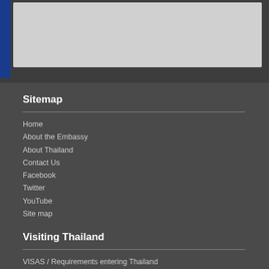[Figure (photo): Top banner image with blue strip on left and grey photo area]
Sitemap
Home
About the Embassy
About Thailand
Contact Us
Facebook
Twitter
YouTube
Site map
Visiting Thailand
VISAS / Requirements entering Thailand
Tourism Authority of Thailand
Filming in Thailand
Bringing Medication into Thailand
Bringing Pets Into Thailand
COVID-19 situation and travel to Thailand
Doing Business in Thailand
Economic Factsheet